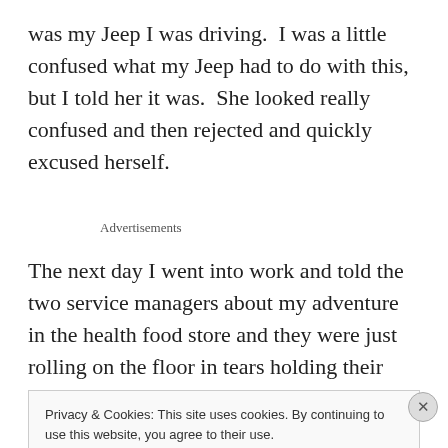was my Jeep I was driving.  I was a little confused what my Jeep had to do with this, but I told her it was.  She looked really confused and then rejected and quickly excused herself.
Advertisements
The next day I went into work and told the two service managers about my adventure in the health food store and they were just rolling on the floor in tears holding their
Privacy & Cookies: This site uses cookies. By continuing to use this website, you agree to their use.
To find out more, including how to control cookies, see here: Cookie Policy
Close and accept